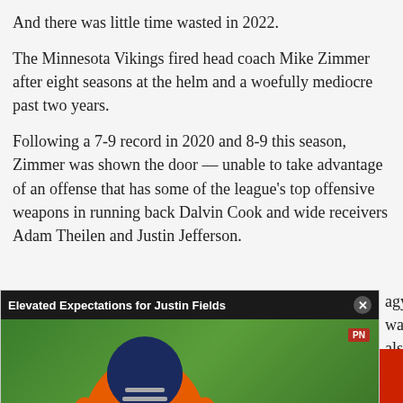And there was little time wasted in 2022.
The Minnesota Vikings fired head coach Mike Zimmer after eight seasons at the helm and a woefully mediocre past two years.
Following a 7-9 record in 2020 and 8-9 this season, Zimmer was shown the door — unable to take advantage of an offense that has some of the league's top offensive weapons in running back Dalvin Cook and wide receivers Adam Theilen and Justin Jefferson.
[Figure (screenshot): Video overlay widget titled 'Elevated Expectations for Justin Fields' showing a football player in orange jersey number 1 and helmet on a green background, with a mute button and close button]
agy, was also (and ago Bears following four worse. The Bears won 12 ut have followed it up with a 6-11 2021.
Sections  Contact  Home Pros  Events  Jobs